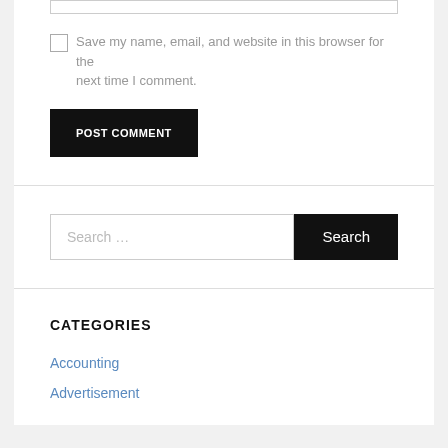Save my name, email, and website in this browser for the next time I comment.
POST COMMENT
Search …
CATEGORIES
Accounting
Advertisement